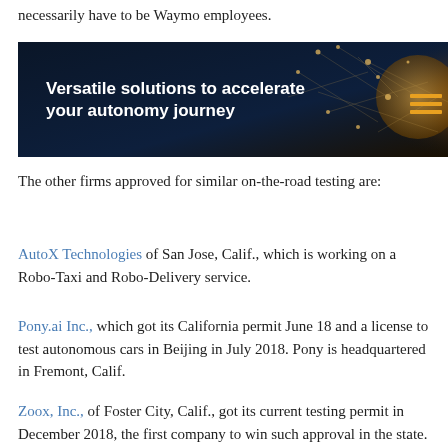necessarily have to be Waymo employees.
[Figure (screenshot): Dark-themed banner with text 'Versatile solutions to accelerate your autonomy journey' on a dark navy background with golden/orange glowing network graphic on the right side. A hamburger menu icon (three orange horizontal lines) appears in the top-right corner.]
The other firms approved for similar on-the-road testing are:
AutoX Technologies of San Jose, Calif., which is working on a Robo-Taxi and Robo-Delivery service.
Pony.ai Inc., which got its California permit June 18 and a license to test autonomous cars in Beijing in July 2018. Pony is headquartered in Fremont, Calif.
Zoox, Inc., of Foster City, Calif., got its current testing permit in December 2018, the first company to win such approval in the state.